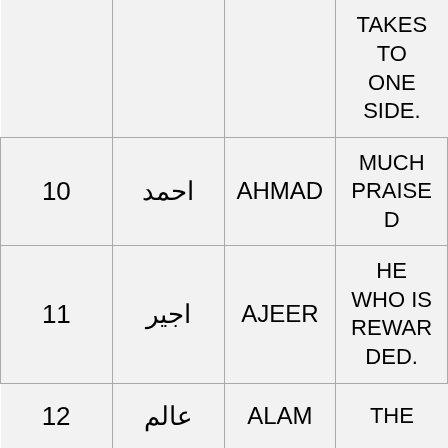| # | Arabic | English | Meaning |
| --- | --- | --- | --- |
|  |  |  | TAKES TO ONE SIDE. |
| 10 | احمد | AHMAD | MUCH PRAISED |
| 11 | اجير | AJEER | HE WHO IS REWARDED. |
| 12 | عالم | ALAM | THE |